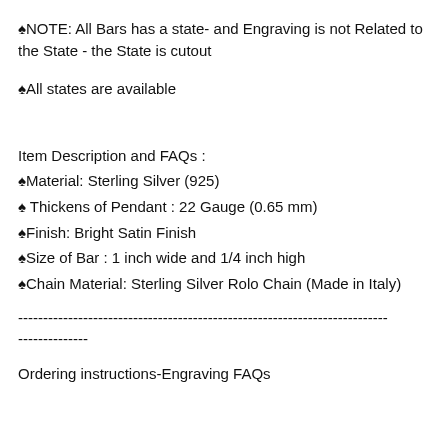♠NOTE: All Bars has a state- and Engraving is not Related to the State - the State is cutout
♠All states are available
Item Description and FAQs :
♠Material: Sterling Silver (925)
♠ Thickens of Pendant : 22 Gauge (0.65 mm)
♠Finish: Bright Satin Finish
♠Size of Bar : 1 inch wide and 1/4 inch high
♠Chain Material: Sterling Silver Rolo Chain (Made in Italy)
--------------------------------------------------------------------------
--------------
Ordering instructions-Engraving FAQs